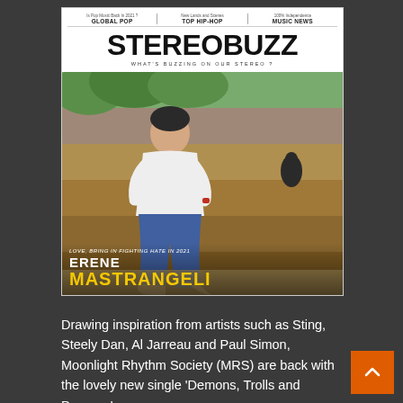[Figure (photo): StereoBuzz magazine cover featuring a person named Erene Mastrangeli seated outdoors on sandy ground with trees in background, wearing white top and blue jeans. Cover header has navigation items: Global Pop, Top Hip-Hop, Music News. Title reads STEREOBUZZ with tagline WHAT'S BUZZING ON OUR STEREO ?. Lower cover text: ERENE MASTRANGELI in white and yellow. Tagline: LOVE, BRING IN FIGHTING HATE IN 2021]
Drawing inspiration from artists such as Sting, Steely Dan, Al Jarreau and Paul Simon, Moonlight Rhythm Society (MRS) are back with the lovely new single 'Demons, Trolls and Dragons'.
The incredible 'Royce DeZorzi' releases a dreamy and